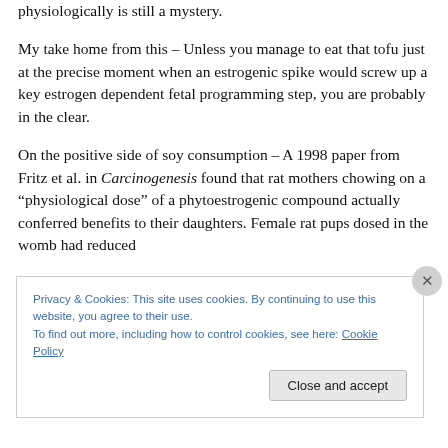physiologically is still a mystery.
My take home from this – Unless you manage to eat that tofu just at the precise moment when an estrogenic spike would screw up a key estrogen dependent fetal programming step, you are probably in the clear.
On the positive side of soy consumption – A 1998 paper from Fritz et al. in Carcinogenesis found that rat mothers chowing on a “physiological dose” of a phytoestrogenic compound actually conferred benefits to their daughters. Female rat pups dosed in the womb had reduced
Privacy & Cookies: This site uses cookies. By continuing to use this website, you agree to their use.
To find out more, including how to control cookies, see here: Cookie Policy